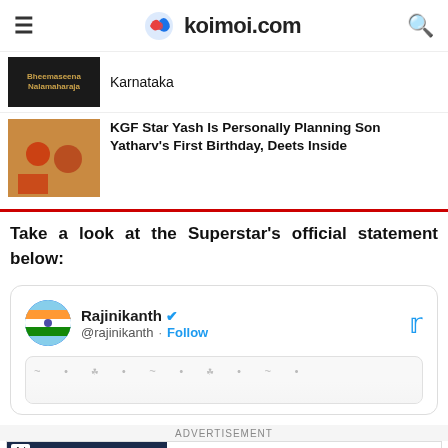koimoi.com
Karnataka
KGF Star Yash Is Personally Planning Son Yatharv's First Birthday, Deets Inside
Take a look at the Superstar's official statement below:
[Figure (screenshot): Tweet embed card from @rajinikanth with Follow button and Twitter bird logo]
ADVERTISEMENT
[Figure (screenshot): BitLife - Life Simulator advertisement banner with Install button]